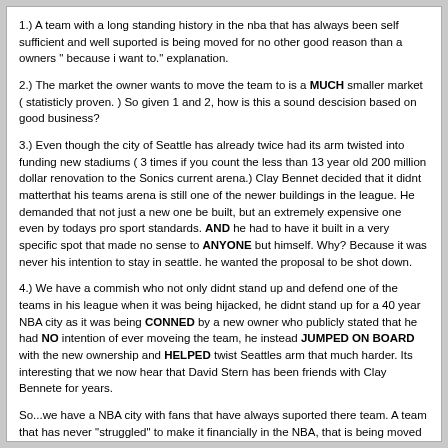1.) A team with a long standing history in the nba that has always been self sufficient and well suported is being moved for no other good reason than a owners " because i want to." explanation.
2.) The market the owner wants to move the team to is a MUCH smaller market ( statisticly proven. ) So given 1 and 2, how is this a sound descision based on good business?
3.) Even though the city of Seattle has already twice had its arm twisted into funding new stadiums ( 3 times if you count the less than 13 year old 200 million dollar renovation to the Sonics current arena.) Clay Bennet decided that it didnt matterthat his teams arena is still one of the newer buildings in the league. He demanded that not just a new one be built, but an extremely expensive one even by todays pro sport standards. AND he had to have it built in a very specific spot that made no sense to ANYONE but himself. Why? Because it was never his intention to stay in seattle. he wanted the proposal to be shot down.
4.) We have a commish who not only didnt stand up and defend one of the teams in his league when it was being hijacked, he didnt stand up for a 40 year NBA city as it was being CONNED by a new owner who publicly stated that he had NO intention of ever moveing the team, he instead JUMPED ON BOARD with the new ownership and HELPED twist Seattles arm that much harder. Its interesting that we now hear that David Stern has been friends with Clay Bennete for years.
So...we have a NBA city with fans that have always suported there team. A team that has never "struggled" to make it financially in the NBA, that is being moved to a much smaller market by a owner who promised he would never move the team. In a effort to appear to make every effort to keep the team in Seattle he presents the city with a "plan" to keep the team in Seattle. The plan however is revealed to be ludicrous at best. Someone in the new ownership group lets it slip that the plan had ALWAYS been to move the Sonics right from the start. The NBA commissioner plays the part of accomplice and actually AIDS at all turns the efforts of the new ownership to move the team. Move it from a already sucsessfull market.